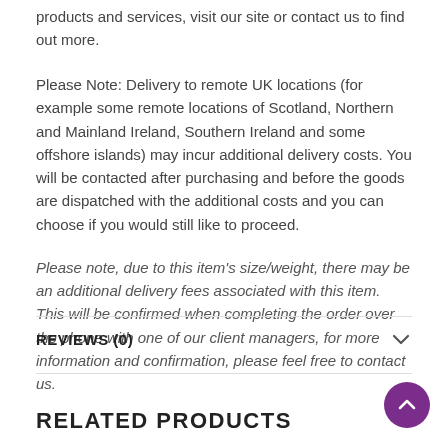products and services, visit our site or contact us to find out more.
Please Note: Delivery to remote UK locations (for example some remote locations of Scotland, Northern and Mainland Ireland, Southern Ireland and some offshore islands) may incur additional delivery costs. You will be contacted after purchasing and before the goods are dispatched with the additional costs and you can choose if you would still like to proceed.
Please note, due to this item's size/weight, there may be an additional delivery fees associated with this item. This will be confirmed when completing the order over the phone with one of our client managers, for more information and confirmation, please feel free to contact us.
REVIEWS (0)
RELATED PRODUCTS